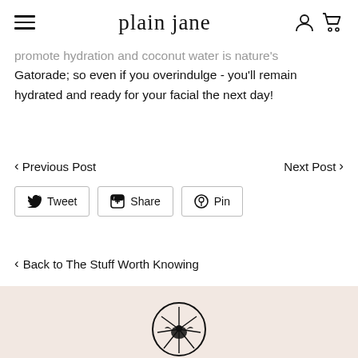plain jane
promote hydration and coconut water is nature's Gatorade; so even if you overindulge - you'll remain hydrated and ready for your facial the next day!
< Previous Post    Next Post >
Tweet  Share  Pin
< Back to The Stuff Worth Knowing
[Figure (logo): Plain Jane circular logo at the bottom of the page on a beige/cream background band]